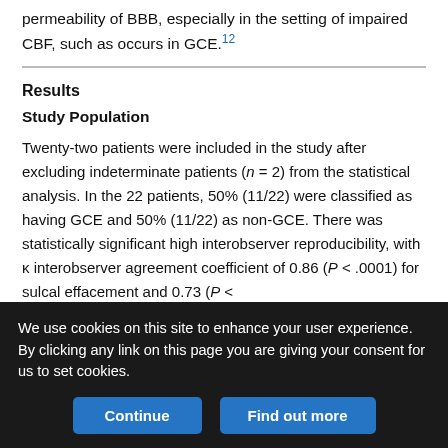permeability of BBB, especially in the setting of impaired CBF, such as occurs in GCE.12
Results
Study Population
Twenty-two patients were included in the study after excluding indeterminate patients (n = 2) from the statistical analysis. In the 22 patients, 50% (11/22) were classified as having GCE and 50% (11/22) as non-GCE. There was statistically significant high interobserver reproducibility, with κ interobserver agreement coefficient of 0.86 (P < .0001) for sulcal effacement and 0.73 (P <
We use cookies on this site to enhance your user experience. By clicking any link on this page you are giving your consent for us to set cookies.